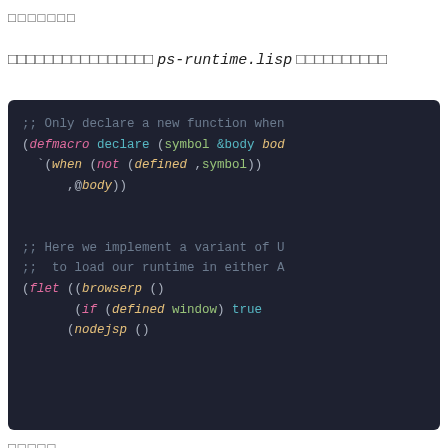□□□□□□□
□□□□□□□□□□□□□□□□ ps-runtime.lisp □□□□□□□□□□
[Figure (screenshot): Dark-themed code editor screenshot showing Lisp/Parenscript code with syntax highlighting. Comments in gray, keywords like defmacro/when/not/defined/flet/if in pink/magenta, function names and parentheses in teal/green, symbols in green, variables in yellow-italic. Code includes a declare macro definition and flet with browserp and nodejsp functions.]
□□□□□